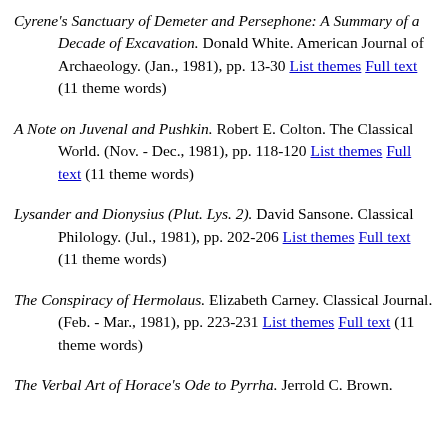Cyrene's Sanctuary of Demeter and Persephone: A Summary of a Decade of Excavation. Donald White. American Journal of Archaeology. (Jan., 1981), pp. 13-30 List themes Full text (11 theme words)
A Note on Juvenal and Pushkin. Robert E. Colton. The Classical World. (Nov. - Dec., 1981), pp. 118-120 List themes Full text (11 theme words)
Lysander and Dionysius (Plut. Lys. 2). David Sansone. Classical Philology. (Jul., 1981), pp. 202-206 List themes Full text (11 theme words)
The Conspiracy of Hermolaus. Elizabeth Carney. Classical Journal. (Feb. - Mar., 1981), pp. 223-231 List themes Full text (11 theme words)
The Verbal Art of Horace's Ode to Pyrrha. Jerrold C. Brown.